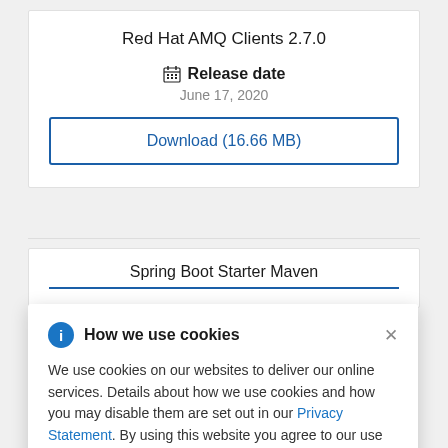Red Hat AMQ Clients 2.7.0
Release date
June 17, 2020
Download (16.66 MB)
Spring Boot Starter Maven
How we use cookies
We use cookies on our websites to deliver our online services. Details about how we use cookies and how you may disable them are set out in our Privacy Statement. By using this website you agree to our use of cookies.